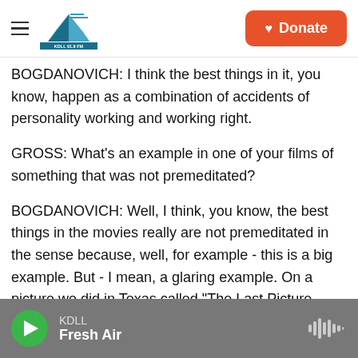KDLL logo and Donate button
BOGDANOVICH: I think the best things in it, you know, happen as a combination of accidents of personality working and working right.
GROSS: What's an example in one of your films of something that was not premeditated?
BOGDANOVICH: Well, I think, you know, the best things in the movies really are not premeditated in the sense because, well, for example - this is a big example. But - I mean, a glaring example. On a picture we did in Texas called "The Last Picture Show," there was a scene where Ben Johnson had to do a long monologue by a tank dam. He's talking
KDLL Fresh Air